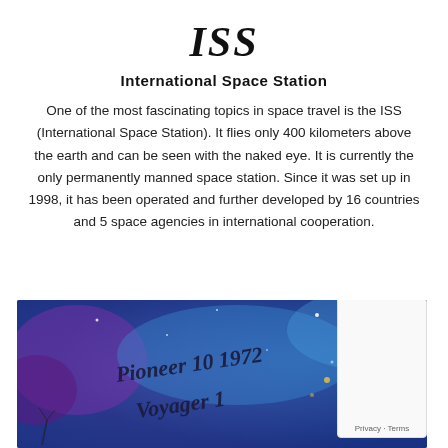ISS
International Space Station
One of the most fascinating topics in space travel is the ISS (International Space Station). It flies only 400 kilometers above the earth and can be seen with the naked eye. It is currently the only permanently manned space station. Since it was set up in 1998, it has been operated and further developed by 16 countries and 5 space agencies in international cooperation.
[Figure (illustration): Colorful space-themed illustration with text 'Pioneer 10 1972 Voyager 1' painted in a blue and purple cosmic background with stars and space imagery.]